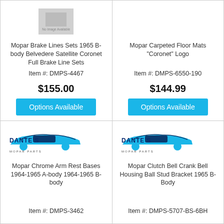[Figure (illustration): No image available placeholder box]
Mopar Brake Lines Sets 1965 B-body Belvedere Satellite Coronet Full Brake Line Sets
Item #: DMPS-4467
$155.00
Options Available
[Figure (illustration): No image available placeholder]
Mopar Carpeted Floor Mats "Coronet" Logo
Item #: DMPS-6550-190
$144.99
Options Available
[Figure (logo): Dante's Mopar Parts logo with classic car]
Mopar Chrome Arm Rest Bases 1964-1965 A-body 1964-1965 B-body
Item #: DMPS-3462
[Figure (logo): Dante's Mopar Parts logo with classic car]
Mopar Clutch Bell Crank Bell Housing Ball Stud Bracket 1965 B-Body
Item #: DMPS-5707-BS-6BH